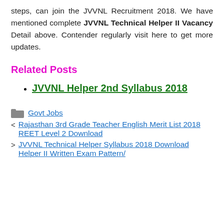steps, can join the JVVNL Recruitment 2018. We have mentioned complete JVVNL Technical Helper II Vacancy Detail above. Contender regularly visit here to get more updates.
Related Posts
JVVNL Helper 2nd Syllabus 2018
Govt Jobs
< Rajasthan 3rd Grade Teacher English Merit List 2018 REET Level 2 Download
> JVVNL Technical Helper Syllabus 2018 Download Helper II Written Exam Pattern/